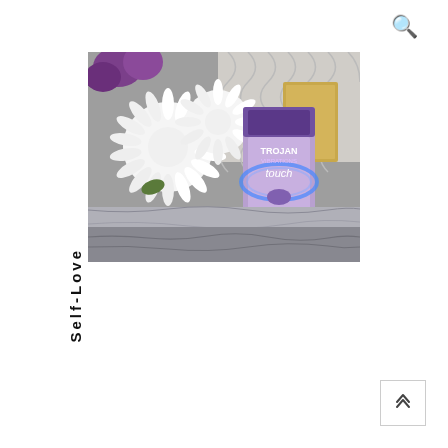[Figure (photo): Photo of a Trojan Vibrations Touch product package (purple/lavender box) placed on a marble tray next to white chrysanthemum flowers and a gold geometric tray, with a grey geometric patterned background.]
Self-Love
[Figure (other): Back to top chevron button in lower right corner]